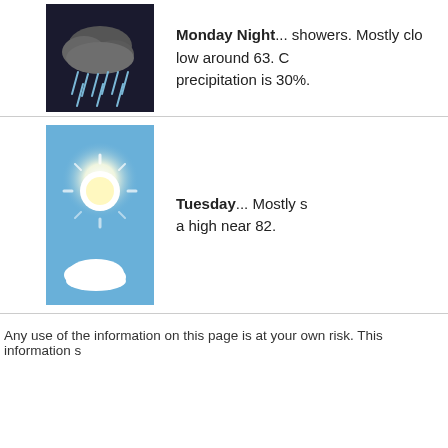[Figure (illustration): Weather icon showing a dark cloud with rain showers falling]
Monday Night... showers. Mostly cloudy, low around 63. Chance of precipitation is 30%.
[Figure (illustration): Weather icon showing a bright sunny sky with a small white cloud, blue sky background]
Tuesday... Mostly sunny with a high near 82.
Any use of the information on this page is at your own risk. This information s...